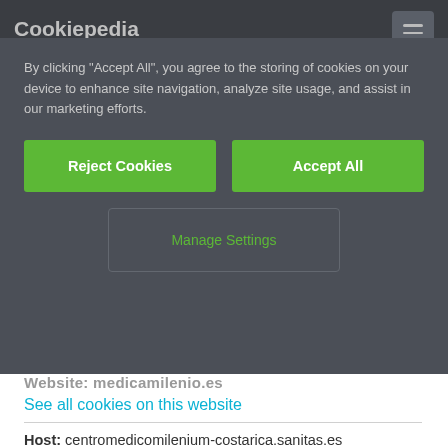Cookiepedia
By clicking "Accept All", you agree to the storing of cookies on your device to enhance site navigation, analyze site usage, and assist in our marketing efforts.
Reject Cookies
Accept All
Manage Settings
See all cookies on this website
Host: centromedicomilenium-costarica.sanitas.es
Life Span (days): 0